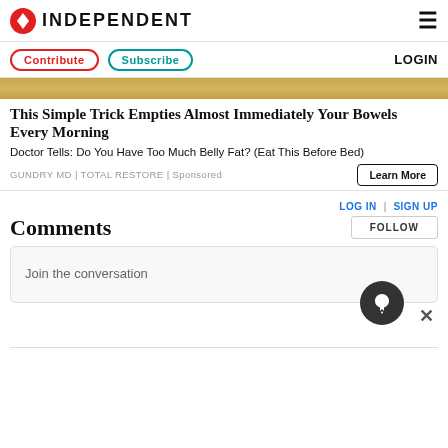INDEPENDENT
Contribute | Subscribe | LOGIN
[Figure (photo): Golden/brown background image strip at top of advertisement]
This Simple Trick Empties Almost Immediately Your Bowels Every Morning
Doctor Tells: Do You Have Too Much Belly Fat? (Eat This Before Bed)
GUNDRY MD | TOTAL RESTORE | Sponsored
Learn More
Comments
LOG IN | SIGN UP
FOLLOW
Join the conversation